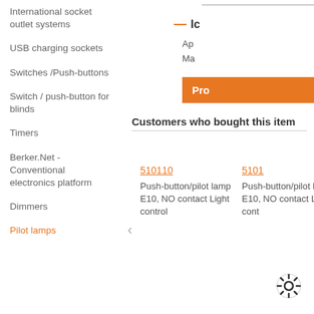International socket outlet systems
USB charging sockets
Switches /Push-buttons
Switch / push-button for blinds
Timers
Berker.Net - Conventional electronics platform
Dimmers
Pilot lamps
Ap
Ma
Pro
Customers who bought this item
510110
Push-button/pilot lamp E10, NO contact Light control
5101
Push-button/pilot lamp E10, NO contact Light cont